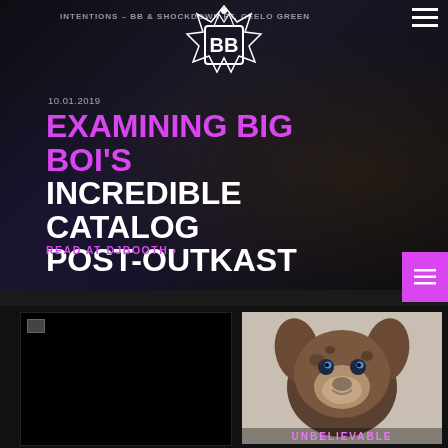INTENTIONS – BB & SHOCKDOWN FT. CEELO GREEN
[Figure (logo): BB stylized crown/box logo in white]
10.01.2019
EXAMINING BIG BOI'S INCREDIBLE CATALOG POST-OUTKAST
READ AT DJBOOTH ›
[Figure (photo): Dark photo of person in studio setting]
[Figure (photo): French bulldog puppy with blue eyes looking up, with partial text UNBELIEVABLE at bottom]